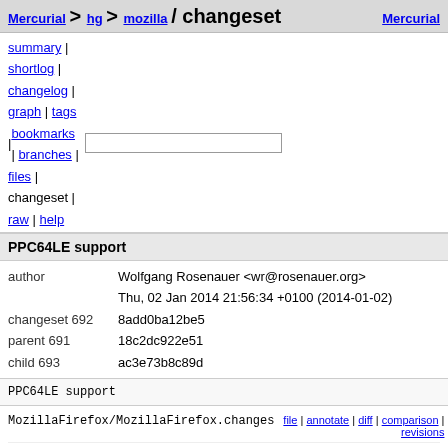Mercurial > hg > mozilla / changeset   Mercurial
summary |
shortlog |
changelog |
graph | tags
| bookmarks | branches |
files |
changeset |
raw | help
PPC64LE support
| field | value |
| --- | --- |
| author | Wolfgang Rosenauer <wr@rosenauer.org> |
|  | Thu, 02 Jan 2014 21:56:34 +0100 (2014-01-02) |
| changeset 692 | 8add0ba12be5 |
| parent 691 | 18c2dc922e51 |
| child 693 | ac3e73b8c89d |
PPC64LE support
MozillaFirefox/MozillaFirefox.changes   file | annotate | diff | comparison | revisions
MozillaFirefox/MozillaFirefox.spec   file | annotate | diff | comparison |